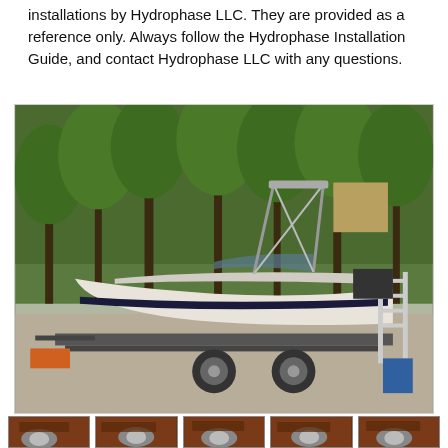installations by Hydrophase LLC. They are provided as a reference only. Always follow the Hydrophase Installation Guide, and contact Hydrophase LLC with any questions.
[Figure (photo): A white speedboat on a trailer parked on a concrete driveway surrounded by green trees. The boat has a wakeboard tower with speakers and accessories mounted on it. A ladder is visible on the right side.]
[Figure (photo): Thumbnail photo showing close-up of boat engine compartment or components.]
[Figure (photo): Thumbnail photo showing close-up of boat engine compartment or components.]
[Figure (photo): Thumbnail photo showing close-up of boat engine compartment or components.]
[Figure (photo): Thumbnail photo showing close-up of boat engine compartment or components.]
[Figure (photo): Thumbnail photo showing close-up of boat engine compartment or components.]